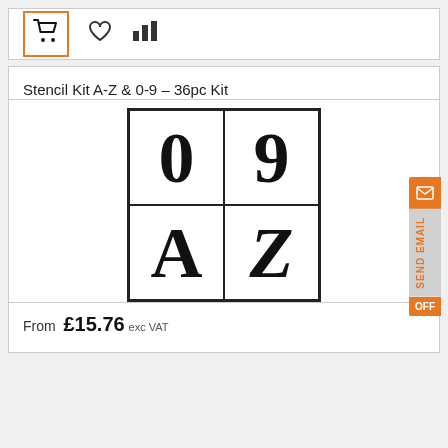[Figure (screenshot): Top toolbar with shopping cart icon (highlighted with orange border), heart/wishlist icon, and bar chart/compare icon]
Stencil Kit A-Z & 0-9 - 36pc Kit
[Figure (photo): Product image showing a 2x2 grid of stencil cards displaying characters 0, 9, A, Z in bold serif font]
From £15.76 exc VAT